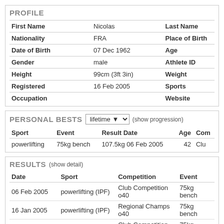PROFILE
|  |  |  |
| --- | --- | --- |
| First Name | Nicolas | Last Name |
| Nationality | FRA | Place of Birth |
| Date of Birth | 07 Dec 1962 | Age |
| Gender | male | Athlete ID |
| Height | 99cm (3ft 3in) | Weight |
| Registered | 16 Feb 2005 | Sports |
| Occupation |  | Website |
PERSONAL BESTS
| Sport | Event | Result Date | Age | Com |
| --- | --- | --- | --- | --- |
| powerlifting | 75kg bench | 107.5kg 06 Feb 2005 | 42 | Clu |
RESULTS
| Date | Sport | Competition | Event |
| --- | --- | --- | --- |
| 06 Feb 2005 | powerlifting (IPF) | Club Competition o40 | 75kg bench |
| 16 Jan 2005 | powerlifting (IPF) | Regional Champs o40 | 75kg bench |
| 12 Dec 2004 | powerlifting (IPF) | Club Competition o40 | 75kg bench |
| 21 Nov 2004 | powerlifting (IPF) | Club Competition o40 | 75kg bench |
| 07 Nov 2004 | powerlifting (IPF) | Club Competition o40 | 75kg bench |